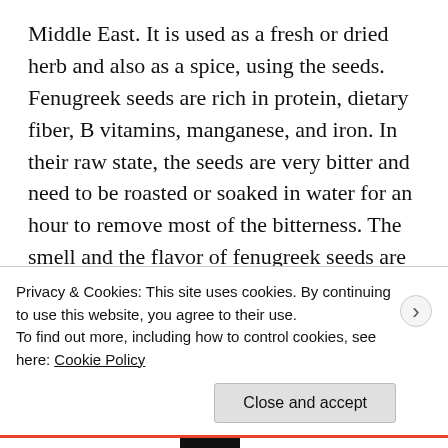Middle East. It is used as a fresh or dried herb and also as a spice, using the seeds. Fenugreek seeds are rich in protein, dietary fiber, B vitamins, manganese, and iron. In their raw state, the seeds are very bitter and need to be roasted or soaked in water for an hour to remove most of the bitterness. The smell and the flavor of fenugreek seeds are pungent and dominant, and for most Westerners it is an acquired taste. You either love the flavor and the smell, or you can't stand them. When eating large amount of fenugreek, the odor may be
Privacy & Cookies: This site uses cookies. By continuing to use this website, you agree to their use.
To find out more, including how to control cookies, see here: Cookie Policy
Close and accept